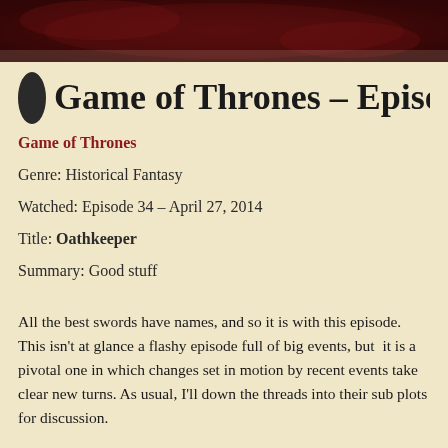[Figure (illustration): Dark red/maroon decorative banner image at the top of the page, resembling a carved or textured background]
Game of Thrones – Episod…
Game of Thrones
Genre: Historical Fantasy
Watched: Episode 34 – April 27, 2014
Title: Oathkeeper
Summary: Good stuff
All the best swords have names, and so it is with this episode. This isn't at glance a flashy episode full of big events, but  it is a pivotal one in which changes set in motion by recent events take clear new turns. As usual, I'll down the threads into their sub plots for discussion.